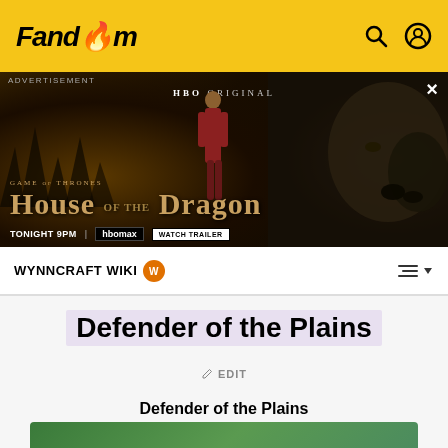Fandom
[Figure (screenshot): Advertisement banner for House of the Dragon, HBO Original, showing dragon imagery and character figure. Text: ADVERTISEMENT, HBO ORIGINAL, GAME OF THRONES, HOUSE OF THE DRAGON, TONIGHT 9PM, HBOMAX, WATCH TRAILER]
WYNNCRAFT WIKI
Defender of the Plains
EDIT
Defender of the Plains
[Figure (screenshot): Partial image at the bottom of the page showing green landscape/terrain, likely an in-game screenshot from Wynncraft]